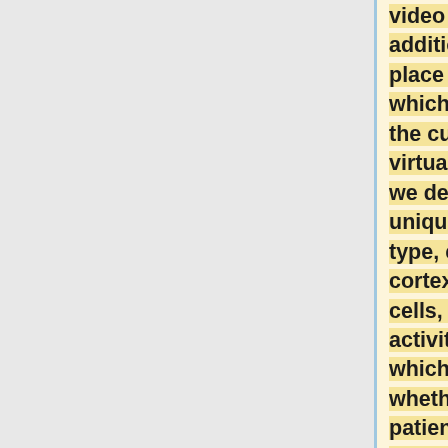video game. In addition to place cells, which encode the current virtual location, we describe a unique cell type, entorhinal cortex (EC) path cells, the activity of which indicates whether the patient is taking a clockwise or counterclockwise path around the virtual square road. We find that many EC path cells exhibit